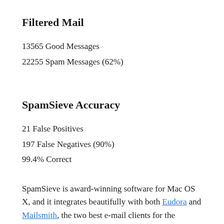Filtered Mail
13565 Good Messages
22255 Spam Messages (62%)
SpamSieve Accuracy
21 False Positives
197 False Negatives (90%)
99.4% Correct
SpamSieve is award-winning software for Mac OS X, and it integrates beautifully with both Eudora and Mailsmith, the two best e-mail clients for the platform. I am getting to the